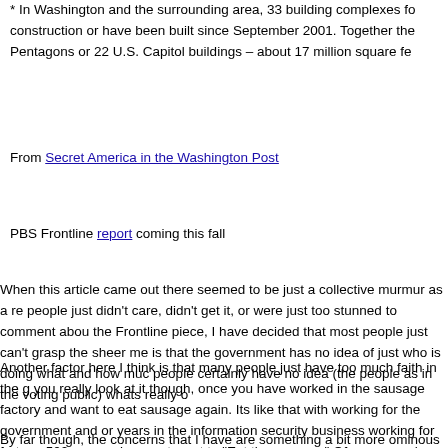* In Washington and the surrounding area, 33 building complexes for construction or have been built since September 2001. Together the Pentagons or 22 U.S. Capitol buildings – about 17 million square fe
From Secret America in the Washington Post
PBS Frontline report coming this fall
When this article came out there seemed to be just a collective murmur as a re people just didn't care, didn't get it, or were just too stunned to comment abou the Frontline piece, I have decided that most people just can't grasp the sheer me is that the government has no idea of just who is doing what and how muc people certainly have no idea (the people as in the voting public) whats really o
Another factor here I think is that many people just have too much faith in the g you really look at it though, once you have worked in the sausage factory and want to eat sausage again. Its like that with working for the government and or years in the information security business working for fortune 500 companies a not want to "Eat the sausage" Of course perhaps the better thing to say is that corporations because they both are comprised of inept people and red tape.
By far though, the concerns that I have are something a bit more ominous in n only lead to greater abuses of power by not only the government but also the c performing all this secret work. It used to be that there was government oversi